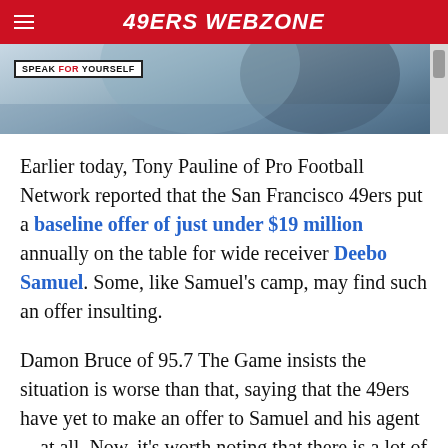49ERS WEBZONE
[Figure (photo): Sports action photo with 'Speak For Yourself' badge overlay, showing football players, partially cropped with a scroll bar on the right]
Earlier today, Tony Pauline of Pro Football Network reported that the San Francisco 49ers put a baseline offer of just under $19 million annually on the table for wide receiver Deebo Samuel. Some, like Samuel's camp, may find such an offer insulting.
Damon Bruce of 95.7 The Game insists the situation is worse than that, saying that the 49ers have yet to make an offer to Samuel and his agent—at all. Now, it's worth noting that there is a lot of speculation swirling around the NFL media landscape right now, so it is difficult to determine what might be true and what is flat-out false.